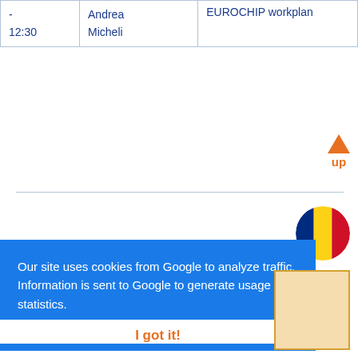|  | Andrea Micheli | EUROCHIP workplan |
| --- | --- | --- |
| -
12:30 | Andrea
Micheli | EUROCHIP workplan |
[Figure (other): Orange upward-pointing triangle arrow with label 'up' below it]
[Figure (other): Romanian flag circle (blue, yellow, red vertical stripes) as a circular badge]
Our site uses cookies from Google to analyze traffic. Information is sent to Google to generate usage statistics. More info about cookies
[Figure (other): Blue downward-pointing triangle arrow]
I got it!